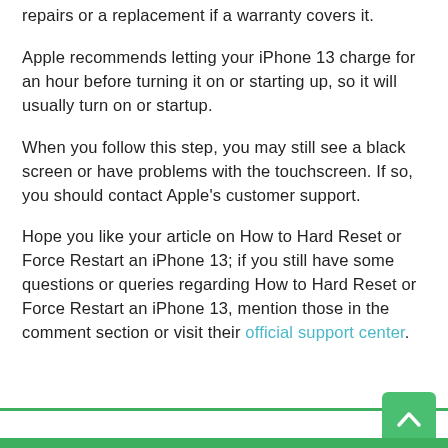repairs or a replacement if a warranty covers it.
Apple recommends letting your iPhone 13 charge for an hour before turning it on or starting up, so it will usually turn on or startup.
When you follow this step, you may still see a black screen or have problems with the touchscreen. If so, you should contact Apple's customer support.
Hope you like your article on How to Hard Reset or Force Restart an iPhone 13; if you still have some questions or queries regarding How to Hard Reset or Force Restart an iPhone 13, mention those in the comment section or visit their official support center.